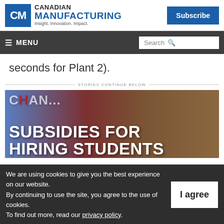Canadian Manufacturing — Insight. Innovation. Impact.
seconds for Plant 2).
STORIES CONTINUE BELOW
[Figure (photo): Banner image with text: SUBSIDIES FOR HIRING STUDENTS]
We are using cookies to give you the best experience on our website. By continuing to use the site, you agree to the use of cookies. To find out more, read our privacy policy.